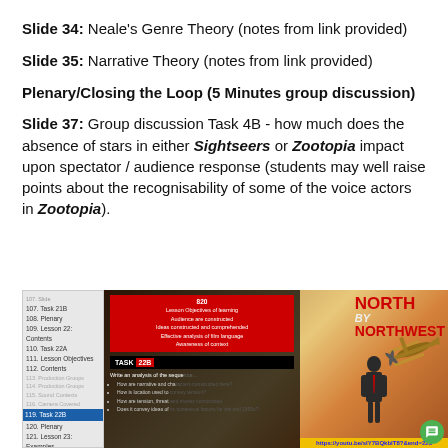Slide 34: Neale's Genre Theory (notes from link provided)
Slide 35: Narrative Theory (notes from link provided)
Plenary/Closing the Loop (5 Minutes group discussion)
Slide 37: Group discussion Task 4B - how much does the absence of stars in either Sightseers or Zootopia impact upon spectator / audience response (students may well raise points about the recognisability of some of the voice actors in Zootopia).
[Figure (screenshot): Screenshot of a slide presentation showing a slide navigator on the left listing items including Task 21B, Plenary, Lesson 22 Contents, Task 22A, Lesson Objectives, Contents, Task 22B highlighted, Plenary, Lesson 23 Examples, Task 26A, Lesson Objectives. The main slide shows Task 22B with a black background overlay on the left containing a red title box, 'TASK 22B' label, instructions to write an analysis of a sequence with bullet points about narrative, location, tension/threat/money, and contextual factors of the mid-1950s. A URL https://youtu.be/sIY7BQkbIT8?&end=223 is shown at the bottom. The right side shows a North by Northwest movie poster background with red NORTH BY NORTHWEST text and a man in a suit silhouette. A green chat bubble is in the bottom right corner.]